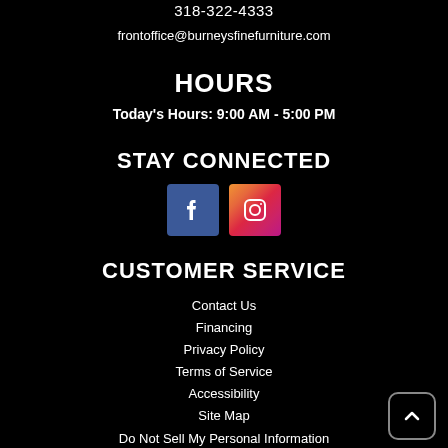318-322-4333
frontoffice@burneysfinefurniture.com
HOURS
Today's Hours: 9:00 AM - 5:00 PM
STAY CONNECTED
[Figure (logo): Facebook and Instagram social media icons]
CUSTOMER SERVICE
Contact Us
Financing
Privacy Policy
Terms of Service
Accessibility
Site Map
Do Not Sell My Personal Information